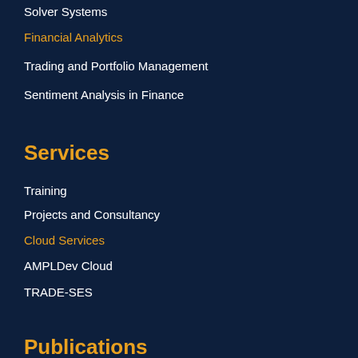Solver Systems
Financial Analytics
Trading and Portfolio Management
Sentiment Analysis in Finance
Services
Training
Projects and Consultancy
Cloud Services
AMPLDev Cloud
TRADE-SES
Publications